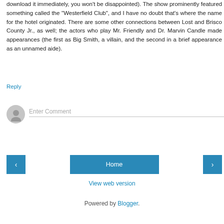download it immediately, you won't be disappointed). The show prominently featured something called the "Westerfield Club", and I have no doubt that's where the name for the hotel originated. There are some other connections between Lost and Brisco County Jr., as well; the actors who play Mr. Friendly and Dr. Marvin Candle made appearances (the first as Big Smith, a villain, and the second in a brief appearance as an unnamed aide).
Reply
Enter Comment
Home
View web version
Powered by Blogger.